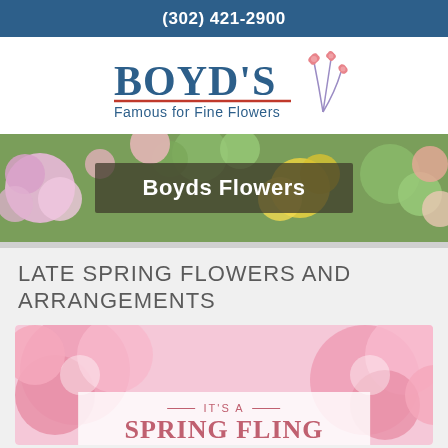(302) 421-2900
[Figure (logo): Boyd's Famous for Fine Flowers logo with blue text and pink flower illustration]
[Figure (photo): Colorful flower arrangement banner with text overlay reading 'Boyds Flowers']
LATE SPRING FLOWERS AND ARRANGEMENTS
[Figure (photo): Pink peonies/flowers background with overlay text reading IT'S A SPRING FLING]